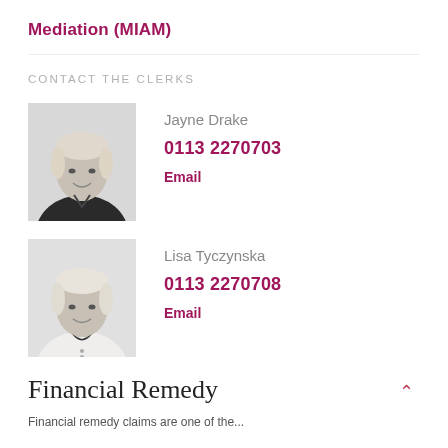Mediation (MIAM)
CONTACT THE CLERKS
[Figure (photo): Black and white headshot photo of Jayne Drake, a woman with light short hair wearing a dark blazer, smiling]
Jayne Drake
0113 2270703
Email
[Figure (photo): Black and white headshot photo of Lisa Tyczynska, a woman with light hair wearing a white blouse and dark neckerchief]
Lisa Tyczynska
0113 2270708
Email
Financial Remedy
Financial remedy claims are one of the...